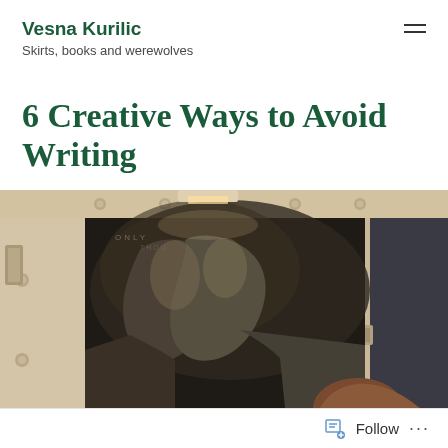Vesna Kurilic
Skirts, books and werewolves
6 Creative Ways to Avoid Writing
[Figure (photo): A person looking at a movie poster on what appears to be a train or vehicle wall, showing a dramatic close-up face image in black and white]
Follow ...